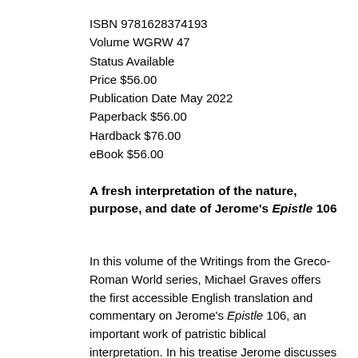ISBN 9781628374193
Volume WGRW 47
Status Available
Price $56.00
Publication Date May 2022
Paperback $56.00
Hardback $76.00
eBook $56.00
A fresh interpretation of the nature, purpose, and date of Jerome's Epistle 106
In this volume of the Writings from the Greco-Roman World series, Michael Graves offers the first accessible English translation and commentary on Jerome's Epistle 106, an important work of patristic biblical interpretation. In his treatise Jerome discusses different textual and exegetical options according to various Greek and Latin copies of the Psalms with input from the Hebrew. Epistle 106 provides insightful commentary on the Gallican Psalter, Jerome's